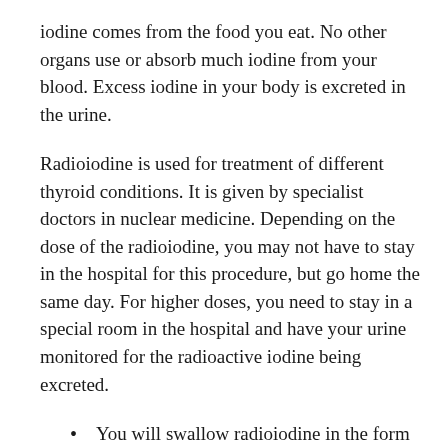iodine comes from the food you eat. No other organs use or absorb much iodine from your blood. Excess iodine in your body is excreted in the urine.
Radioiodine is used for treatment of different thyroid conditions. It is given by specialist doctors in nuclear medicine. Depending on the dose of the radioiodine, you may not have to stay in the hospital for this procedure, but go home the same day. For higher doses, you need to stay in a special room in the hospital and have your urine monitored for the radioactive iodine being excreted.
You will swallow radioiodine in the form of capsules (pills) or a liquid.
Your thyroid will absorb most of the radioactive iodine.
The nuclear medicine team may do scans during...